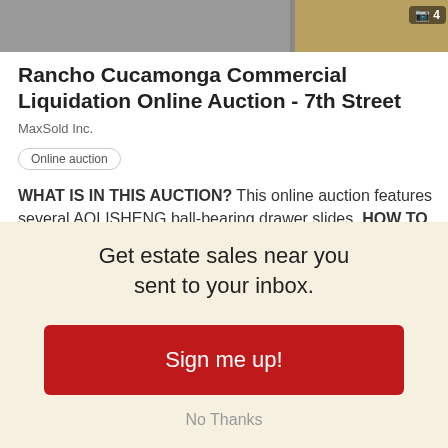[Figure (screenshot): Screenshot showing two auction listing images: a gray image on the left and a yellow/black BID sign thumbnail on the right with a camera icon and count of 4]
Rancho Cucamonga Commercial Liquidation Online Auction - 7th Street
MaxSold Inc.
Online auction
WHAT IS IN THIS AUCTION? This online auction features several AOLISHENG ball-bearing drawer slides. HOW TO ACCESS THE AUCTION? Simply click here:
Get estate sales near you sent to your inbox.
Sign me up!
No Thanks